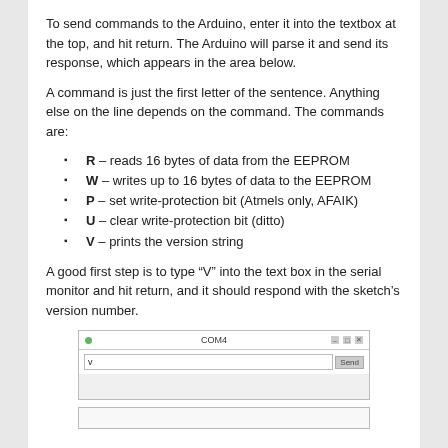To send commands to the Arduino, enter it into the textbox at the top, and hit return. The Arduino will parse it and send its response, which appears in the area below.
A command is just the first letter of the sentence. Anything else on the line depends on the command. The commands are:
R – reads 16 bytes of data from the EEPROM
W – writes up to 16 bytes of data to the EEPROM
P – set write-protection bit (Atmels only, AFAIK)
U – clear write-protection bit (ditto)
V – prints the version string
A good first step is to type “V” into the text box in the serial monitor and hit return, and it should respond with the sketch’s version number.
[Figure (screenshot): Screenshot of Arduino Serial Monitor window (COM4) with a text input box showing 'v' and a Send button]
[Figure (screenshot): Partial screenshot of another window at the bottom of the page]